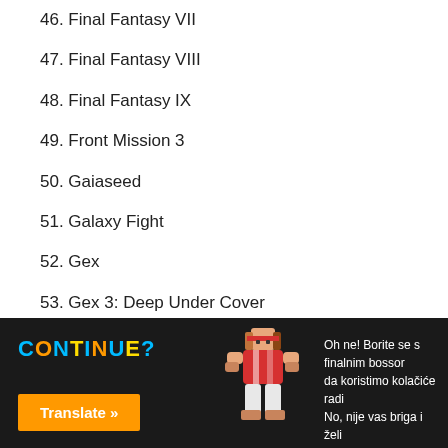46. Final Fantasy VII
47. Final Fantasy VIII
48. Final Fantasy IX
49. Front Mission 3
50. Gaiaseed
51. Galaxy Fight
52. Gex
53. Gex 3: Deep Under Cover
54. Gex 3D: Enter the Gecko
55. G-Police
56. Grandia